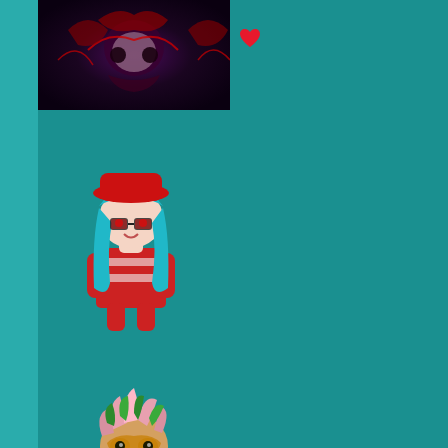[Figure (illustration): Dark gothic avatar with skull and red decorative elements on dark purple/black background]
[Figure (illustration): Small red heart icon]
[Figure (illustration): Chibi-style girl avatar with red hat, teal/blue hair, glasses, red and white striped outfit]
[Figure (illustration): Chibi-style creature/character with pink spiky hair, green leaf crown, golden mask, yellow jacket]
[Figure (illustration): White/pale ghost-like doll figure with large dark eyes and pointed ears]
[Figure (illustration): Chibi girl with black hair, red sunglasses, red jacket with spiky decorations]
[Figure (photo): Autumn/fall landscape scene with orange trees and glowing orb/moon]